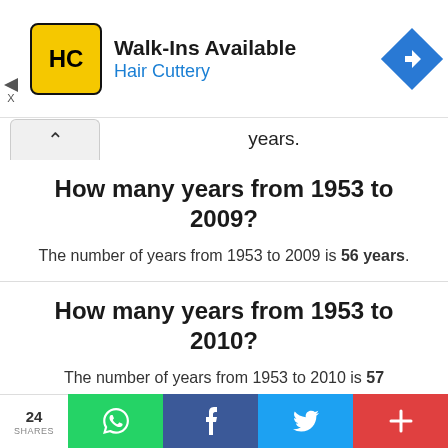[Figure (logo): Hair Cuttery ad banner with HC logo in yellow square, Walk-Ins Available text, Hair Cuttery in blue, and a blue navigation diamond icon]
years.
How many years from 1953 to 2009?
The number of years from 1953 to 2009 is 56 years.
How many years from 1953 to 2010?
The number of years from 1953 to 2010 is 57 years.
24 SHARES [WhatsApp] [Facebook] [Twitter] [+]